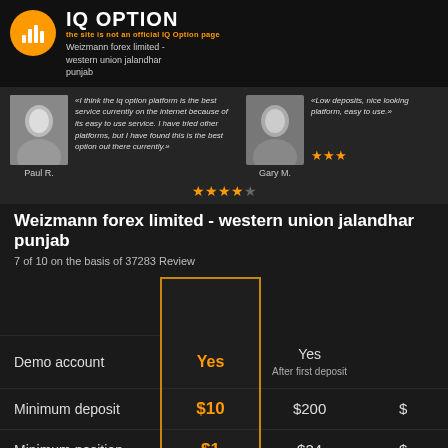IQ OPTION
the site is not an official IQ Option page
Weizmann forex limited - western union jalandhar punjab
«I think the iq option platform is the best service currently on the internet because of its easy to use service. I have tried other platforms, but I have found this is the best option out there currently.» Paul R.
«Low deposits, nice looking platform, easy to use.» Gary M.
★★★★☆
Weizmann forex limited - western union jalandhar punjab
7 of 10 on the basis of 37283 Review
|  | IQ Option | Competitor 1 | Competitor 2 |
| --- | --- | --- | --- |
| Demo account | Yes | Yes
After first deposit | $ |
| Minimum deposit | $10 | $200 | $2 |
| Minimum position | $1 | $24 | $ |